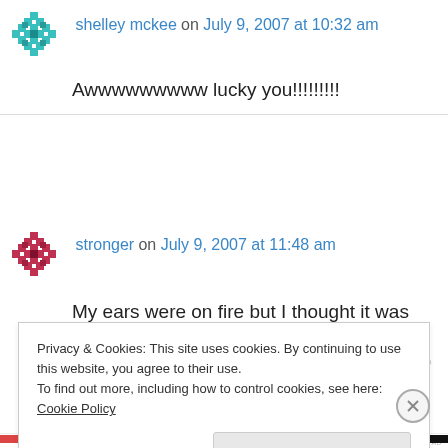[Figure (illustration): Teal/green snowflake pixel avatar icon for user shelley mckee]
shelley mckee on July 9, 2007 at 10:32 am
Awwwwwwwww lucky you!!!!!!!!!
[Figure (illustration): Red/pink snowflake pixel avatar icon for user stronger]
stronger on July 9, 2007 at 11:48 am
My ears were on fire but I thought it was just a sunburn! Glad you got to meet up finally!
REPORT THIS AD
Privacy & Cookies: This site uses cookies. By continuing to use this website, you agree to their use.
To find out more, including how to control cookies, see here: Cookie Policy
Close and accept